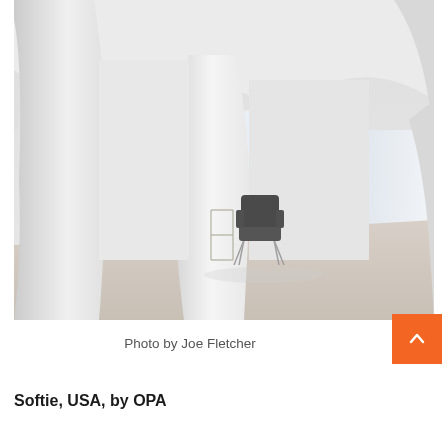[Figure (photo): Interior architectural photo showing a futuristic white room with organic curved columns and arched openings. A dark leather chair with a metal side table sits in the middle distance. Large windows in the background reveal a bright outdoor view. Floor is light wood. The space has a cave-like, sculptural quality with smooth white surfaces.]
Photo by Joe Fletcher
Softie, USA, by OPA